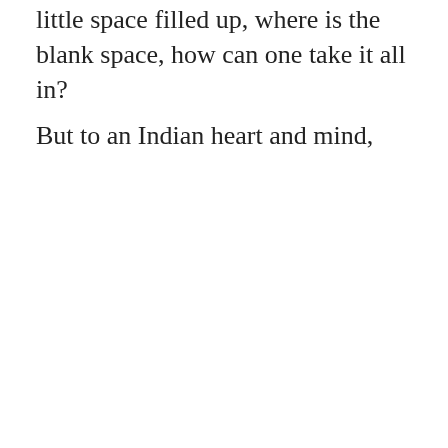little space filled up, where is the blank space, how can one take it all in?
But to an Indian heart and mind,